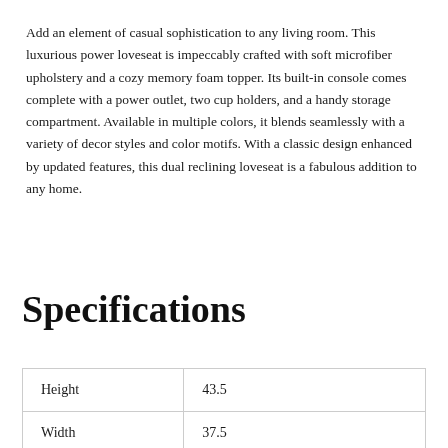Add an element of casual sophistication to any living room. This luxurious power loveseat is impeccably crafted with soft microfiber upholstery and a cozy memory foam topper. Its built-in console comes complete with a power outlet, two cup holders, and a handy storage compartment. Available in multiple colors, it blends seamlessly with a variety of decor styles and color motifs. With a classic design enhanced by updated features, this dual reclining loveseat is a fabulous addition to any home.
Specifications
| Height | 43.5 |
| Width | 37.5 |